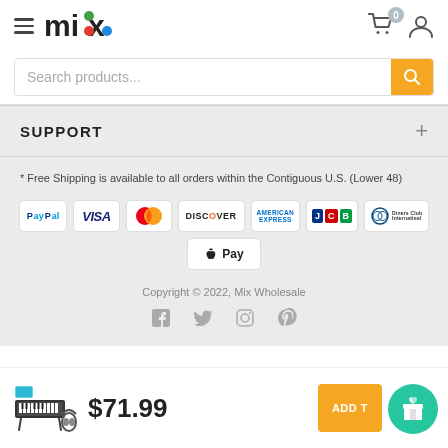mix — Search products...
SUPPORT
* Free Shipping is available to all orders within the Contiguous U.S. (Lower 48)
[Figure (other): Payment method logos: PayPal, Visa, Mastercard, Discover, American Express, JCB, Diners Club, Apple Pay]
Copyright © 2022, Mix Wholesale
[Figure (other): Social media icons: Facebook, Twitter, Instagram, Pinterest]
[Figure (other): Product thumbnail image of a keyboard/piano set]
$71.99
ADD TO CART